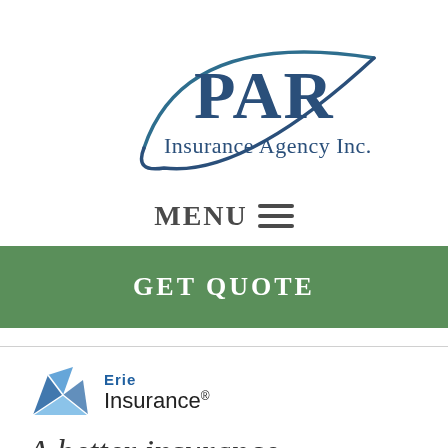[Figure (logo): PAR Insurance Agency Inc. logo with oval arc design in dark blue and teal]
MENU ☰
GET QUOTE
[Figure (logo): Erie Insurance logo with blue geometric mark and 'Erie Insurance' text with registered trademark]
A better insurance